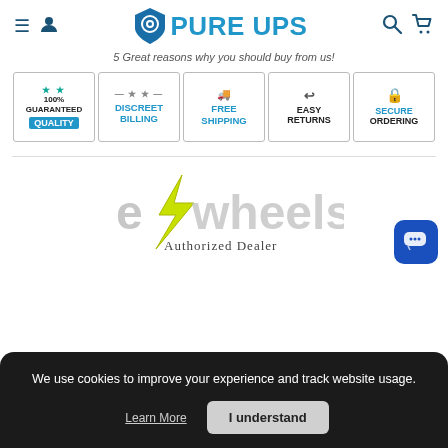[Figure (logo): Pure UPS website header with navigation icons (hamburger menu, user icon, Pure UPS shield logo with text, search icon, cart icon)]
5 Great reasons why you should buy from us!
[Figure (infographic): Five trust badge icons: 100% Guaranteed Quality (stars, cyan highlight), Discreet Billing (stars), Free Shipping (truck icon), Easy Returns (arrow), Secure Ordering (lock icon)]
[Figure (logo): e/wheels Authorized Dealer logo with lightning bolt graphic]
[Figure (screenshot): Blue chat support button (rounded square with speech bubble and ellipsis dots) in the bottom-right corner]
We use cookies to improve your experience and track website usage.
Learn More  I understand
NOW BEFORE THEY'RE GONE.